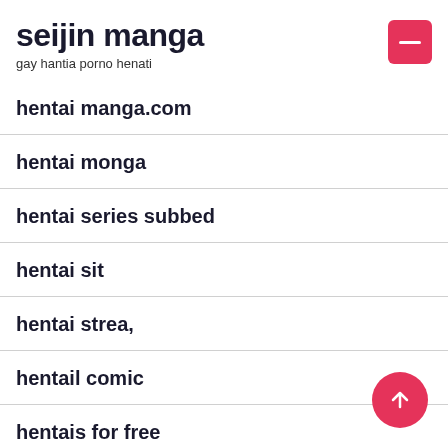seijin manga
gay hantia porno henati
hentai manga.com
hentai monga
hentai series subbed
hentai sit
hentai strea,
hentail comic
hentais for free